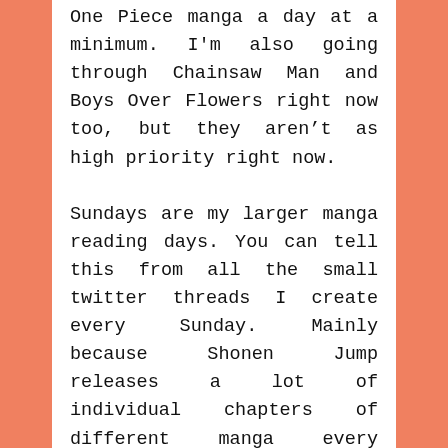One Piece manga a day at a minimum. I'm also going through Chainsaw Man and Boys Over Flowers right now too, but they aren't as high priority right now.
Sundays are my larger manga reading days. You can tell this from all the small twitter threads I create every Sunday. Mainly because Shonen Jump releases a lot of individual chapters of different manga every Sunday. One of my most exciting manga appears on Thursday. But regardless, there are some manga that I force myself to read every Sunday too because I don't want to spread through some powerful and emotional stories. That's where the idea of this post came from. I should have written